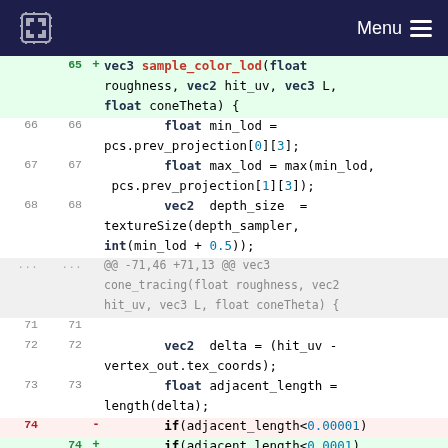Menu
[Figure (screenshot): Code diff view showing GLSL shader code with line numbers, additions (+) in green and removals (-) in red. Shows function sample_color_lod being added, and code for depth_size, min_lod, max_lod, delta, adjacent_length calculations, along with hunk header for cone_tracing function.]